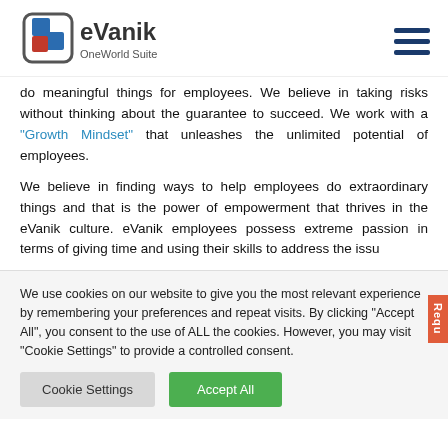eVanik OneWorld Suite
do meaningful things for employees. We believe in taking risks without thinking about the guarantee to succeed. We work with a "Growth Mindset" that unleashes the unlimited potential of employees.
We believe in finding ways to help employees do extraordinary things and that is the power of empowerment that thrives in the eVanik culture. eVanik employees possess extreme passion in terms of giving time and using their skills to address the issues…
We use cookies on our website to give you the most relevant experience by remembering your preferences and repeat visits. By clicking "Accept All", you consent to the use of ALL the cookies. However, you may visit "Cookie Settings" to provide a controlled consent.
Cookie Settings
Accept All